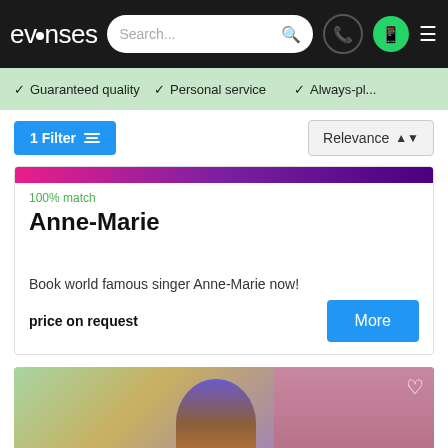evenses | Search... | navigation icons
✓ Guaranteed quality  ✓ Personal service  ✓ Always-pl...
1 Filter  Relevance
100% match
Anne-Marie
Book world famous singer Anne-Marie now!
price on request
[Figure (photo): Photo of a person with styled hair, second listing card with heart icon and green label at bottom]